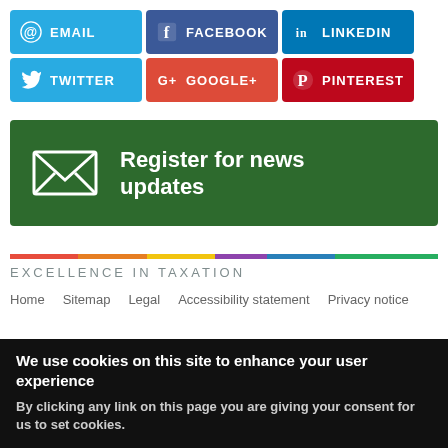[Figure (infographic): Six social media sharing buttons: Email (blue), Facebook (dark blue), LinkedIn (blue), Twitter (light blue), Google+ (red), Pinterest (dark red)]
[Figure (infographic): Green banner with envelope icon and text: Register for news updates]
EXCELLENCE IN TAXATION
Home   Sitemap   Legal   Accessibility statement   Privacy notice
We use cookies on this site to enhance your user experience
By clicking any link on this page you are giving your consent for us to set cookies.